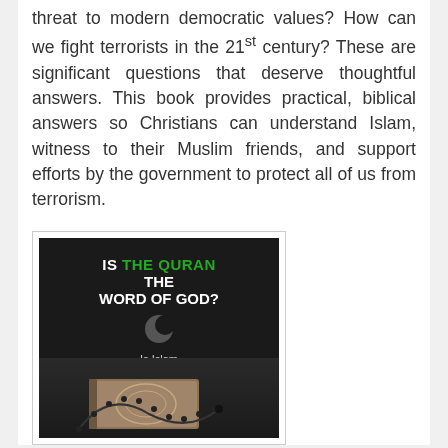threat to modern democratic values? How can we fight terrorists in the 21st century? These are significant questions that deserve thoughtful answers. This book provides practical, biblical answers so Christians can understand Islam, witness to their Muslim friends, and support efforts by the government to protect all of us from terrorism.
[Figure (illustration): Book cover for 'Is The Quran The Word of God?' with subtitle 'Is Islam the One True Faith?' showing a dark background with white and green text, a crescent moon symbol, and an image of a Quran with prayer beads at the bottom.]